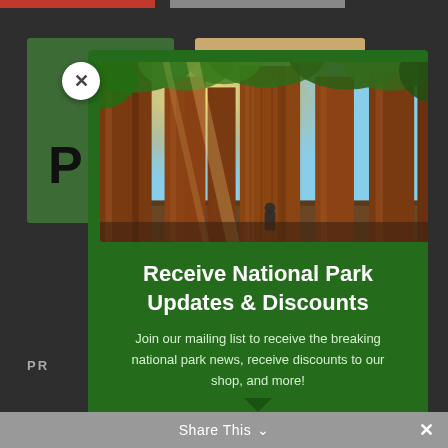[Figure (screenshot): Website screenshot showing a modal popup over a dark background with partial content cards visible. Modal has green background with a photo of tall sequoia trees, and text about National Park updates. A Share This bar is at the bottom.]
Receive National Park Updates & Discounts
Join our mailing list to receive the breaking national park news, receive discounts to our shop, and more!